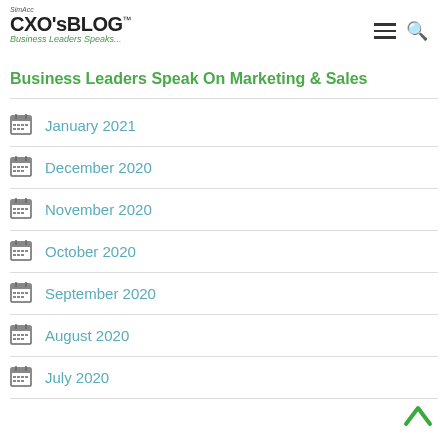CXO's BLOG™ — Business Leaders Speak
Business Leaders Speak On Marketing & Sales
January 2021
December 2020
November 2020
October 2020
September 2020
August 2020
July 2020